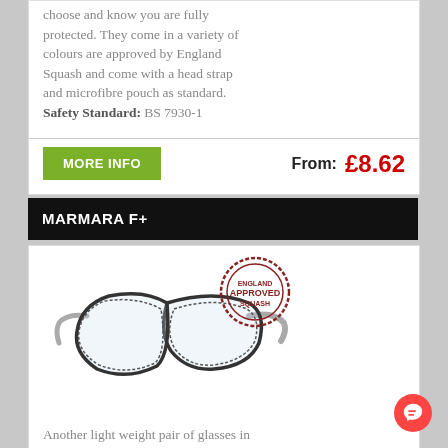choose and know you are fully protected. They come in a variety of colours are approved by England Squash and come with a head strap and microfibre pouch as standard. Safety Standard: BS 7930-1
From: £8.62
MARMARA F+
[Figure (photo): Marmara F+ safety glasses/goggles with black frame and clear lenses, shown at an angle, with an 'Approved' stamp badge]
Another light weight pair of glasses in